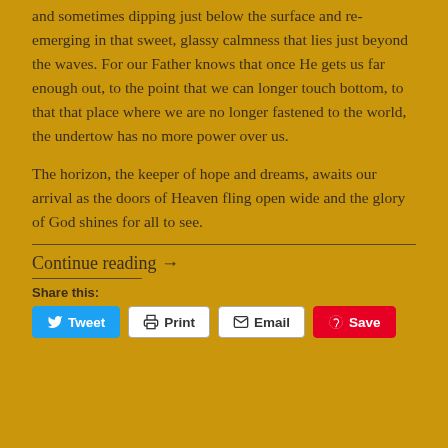and sometimes dipping just below the surface and re-emerging in that sweet, glassy calmness that lies just beyond the waves. For our Father knows that once He gets us far enough out, to the point that we can longer touch bottom, to that that place where we are no longer fastened to the world, the undertow has no more power over us.
The horizon, the keeper of hope and dreams, awaits our arrival as the doors of Heaven fling open wide and the glory of God shines for all to see.
Continue reading →
Share this: